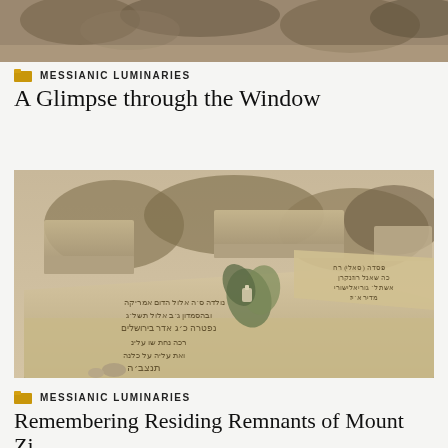[Figure (photo): Top partial sepia-toned photo showing foliage and outdoor scene, cropped at top of page]
MESSIANIC LUMINARIES
A Glimpse through the Window
[Figure (photo): Sepia-toned photograph of Jewish cemetery grave markers/tombstones with Hebrew inscriptions. Flowers and a small candle placed on one of the stone grave markers. Multiple stone tombs visible with dry brush vegetation between them.]
MESSIANIC LUMINARIES
Remembering Residing Remnants of Mount Zi...